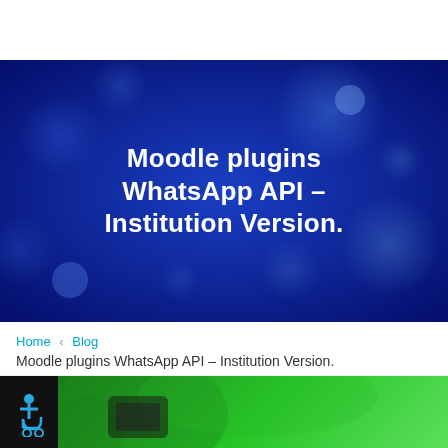[Figure (illustration): Dark blue bokeh background banner with large white bold text reading 'Moodle plugins WhatsApp API – Institution Version.']
Home   Blog   Moodle plugins WhatsApp API – Institution Version.
[Figure (photo): Green glowing tech background strip with a dark accessibility icon box on the left showing a wheelchair/person icon in blue.]